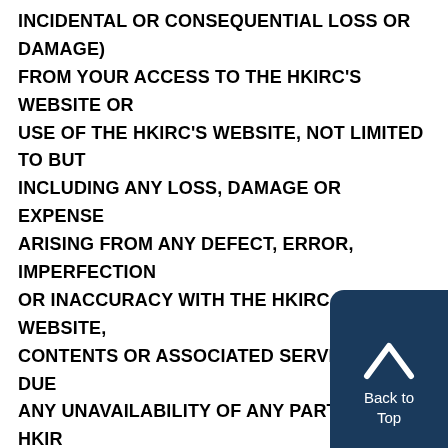INCIDENTAL OR CONSEQUENTIAL LOSS OR DAMAGE) FROM YOUR ACCESS TO THE HKIRC'S WEBSITE OR USE OF THE HKIRC'S WEBSITE, NOT LIMITED TO BUT INCLUDING ANY LOSS, DAMAGE OR EXPENSE ARISING FROM ANY DEFECT, ERROR, IMPERFECTION OR INACCURACY WITH THE HKIRC.'S WEBSITE, CONTENTS OR ASSOCIATED SERVICES, OR DUE ANY UNAVAILABILITY OF ANY PART OF THE HKIRC WEBSITE OR ASSOCIATED SERVICES OR TO ANY DELAY IN OPERATION OR TRANSMISSION, COMPUTER VIRUS, TROJAN HORSE, WORM, SOFTWARE BOMB, COMMUNICATION LINE FAILURE, SOFTWARE OR HARDWARE DATA (INCLUDING BUT NOT LIMITED TO LOSS OF DATA OR COMPATABILITY PROBLEMS), OR INTERCEPTION OF ON-LINE